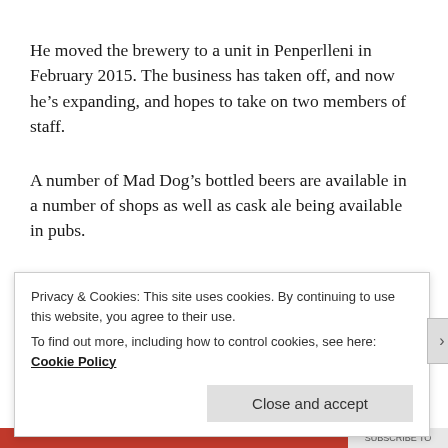He moved the brewery to a unit in Penperlleni in February 2015. The business has taken off, and now he's expanding, and hopes to take on two members of staff.
A number of Mad Dog's bottled beers are available in a number of shops as well as cask ale being available in pubs.
"We brew a range of 20 different ales, the brewery started...
Privacy & Cookies: This site uses cookies. By continuing to use this website, you agree to their use.
To find out more, including how to control cookies, see here: Cookie Policy